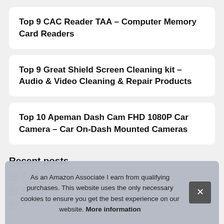Top 9 CAC Reader TAA – Computer Memory Card Readers
Top 9 Great Shield Screen Cleaning kit – Audio & Video Cleaning & Repair Products
Top 10 Apeman Dash Cam FHD 1080P Car Camera – Car On-Dash Mounted Cameras
Recent posts
T…
T…
T…
As an Amazon Associate I earn from qualifying purchases. This website uses the only necessary cookies to ensure you get the best experience on our website. More information